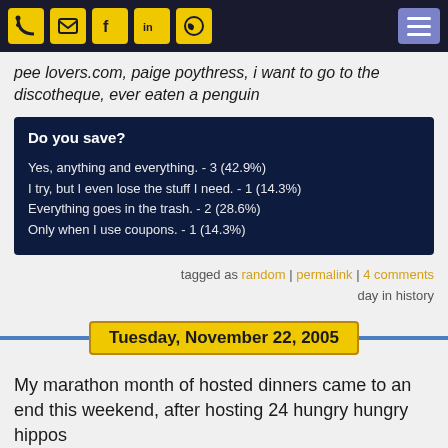RSS | Email | Facebook | LinkedIn | GitHub | Menu
pee lovers.com, paige poythress, i want to go to the discotheque, ever eaten a penguin
Do you save?
Yes, anything and everything. - 3 (42.9%)
I try, but I even lose the stuff I need. - 1 (14.3%)
Everything goes in the trash. - 2 (28.6%)
Only when I use coupons. - 1 (14.3%)
tagged as random | permalink | 4 comments
day in history
Tuesday, November 22, 2005
My marathon month of hosted dinners came to an end this weekend, after hosting 24 hungry hungry hippos